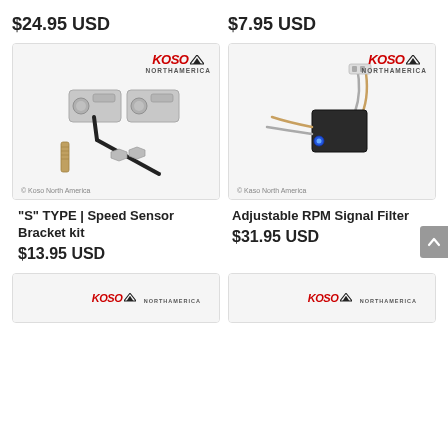$24.95 USD
$7.95 USD
[Figure (photo): Photo of 'S' TYPE Speed Sensor Bracket Kit with aluminum brackets, hex bolts, Allen key wrench, and threaded pin. Koso North America logo visible.]
[Figure (photo): Photo of Adjustable RPM Signal Filter - a small black electronic module with wires/connectors and a blue LED indicator. Koso North America logo visible.]
"S" TYPE | Speed Sensor Bracket kit
$13.95 USD
Adjustable RPM Signal Filter
$31.95 USD
[Figure (photo): Partial bottom card showing Koso North America logo on white background (product not fully visible).]
[Figure (photo): Partial bottom card showing Koso North America logo on white background (product not fully visible).]